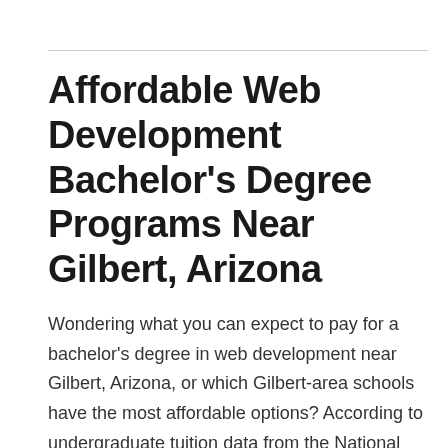Affordable Web Development Bachelor's Degree Programs Near Gilbert, Arizona
Wondering what you can expect to pay for a bachelor's degree in web development near Gilbert, Arizona, or which Gilbert-area schools have the most affordable options? According to undergraduate tuition data from the National Center for Education Statistics (NCES), the average tuition at Gilbert-area's 4-year nonprofit schools is $9,577. The average tuition at for-profit schools near Gilbert is $8,550...